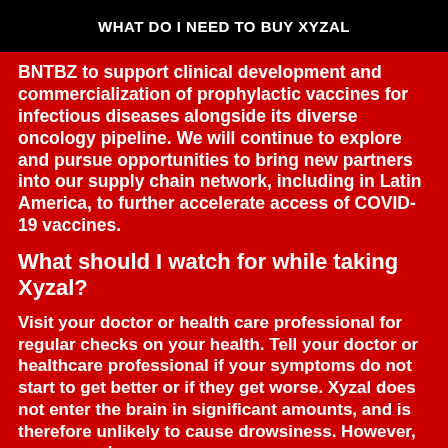WHAT DO I NEED TO BUY XYZAL
BNTBZ to support clinical development and commercialization of prophylactic vaccines for infectious diseases alongside its diverse oncology pipeline. We will continue to explore and pursue opportunities to bring new partners into our supply chain network, including in Latin America, to further accelerate access of COVID-19 vaccines.
What should I watch for while taking Xyzal?
Visit your doctor or health care professional for regular checks on your health. Tell your doctor or healthcare professional if your symptoms do not start to get better or if they get worse. Xyzal does not enter the brain in significant amounts, and is therefore unlikely to cause drowsiness. However, some people